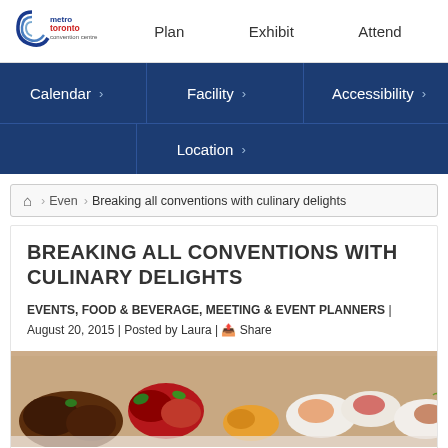Metro Toronto Convention Centre — Plan | Exhibit | Attend
Calendar > | Facility > | Accessibility >
Location >
🏠 > Events > Breaking all conventions with culinary delights
BREAKING ALL CONVENTIONS WITH CULINARY DELIGHTS
EVENTS, FOOD & BEVERAGE, MEETING & EVENT PLANNERS | August 20, 2015 | Posted by Laura | Share
[Figure (photo): Assorted gourmet food canapes and appetizers displayed on white plates and spoons]